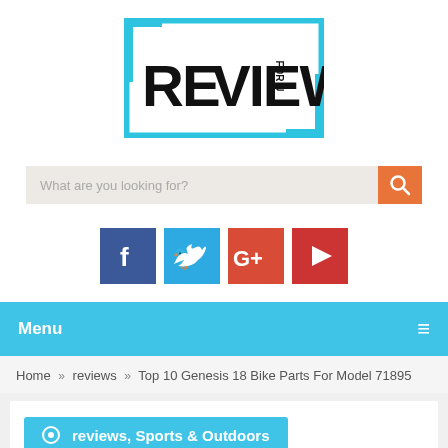[Figure (logo): ReviewsForU logo — black block letters RE VIEWS with teal square brackets framing them, 'FOR U' in small text inside, teal rectangular border outline]
[Figure (screenshot): Search bar with placeholder text 'What are you looking for?' and orange search button with magnifying glass icon]
[Figure (screenshot): Social media icon buttons: Facebook (dark blue 'f'), Twitter (light blue bird), Google+ (red-orange 'G+'), YouTube (red play button)]
Menu
Home » reviews » Top 10 Genesis 18 Bike Parts For Model 71895
reviews, Sports & Outdoors